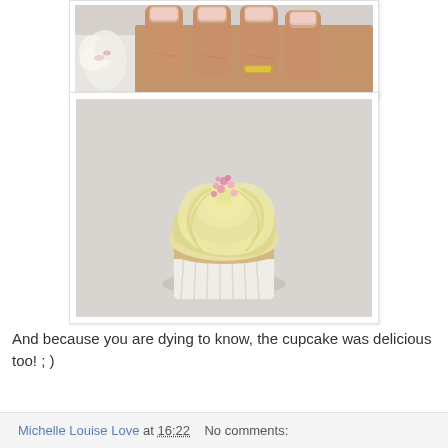[Figure (photo): Close-up photo of a hand with manicured nails and a white orchid flower in the background]
[Figure (photo): A cupcake with swirled yellow/cream frosting decorated with pink sprinkles/sugar pearls, on a white cupcake liner, on a light gray surface]
And because you are dying to know, the cupcake was delicious too! ; )
Michelle Louise Love at 16:22   No comments: